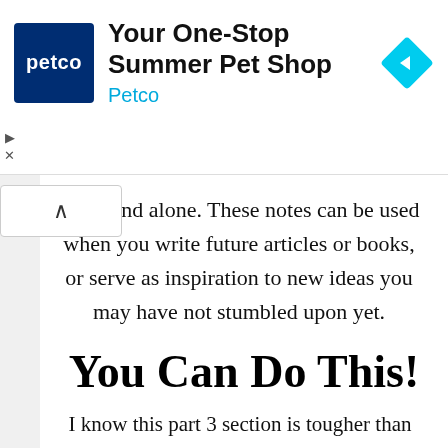[Figure (screenshot): Petco advertisement banner with logo, title 'Your One-Stop Summer Pet Shop', brand name 'Petco', and a blue diamond navigation icon. Play and close controls on left side.]
that stand alone. These notes can be used when you write future articles or books, or serve as inspiration to new ideas you may have not stumbled upon yet.
You Can Do This!
I know this part 3 section is tougher than the first two. If you are looking for just a way to take notes that don't really get used, you can skip this section altogether. But if you're reading this blog post, I doubt you're that type of person.